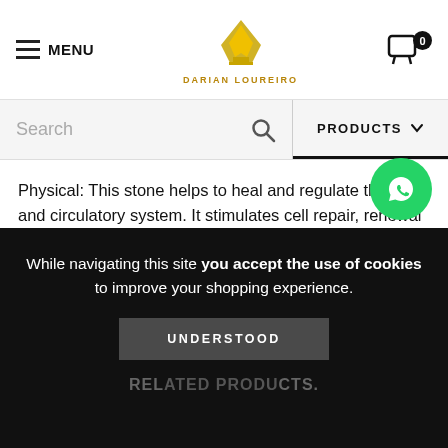MENU | DARIAN LOUREIRO | 0
Search | PRODUCTS
Physical: This stone helps to heal and regulate the heart and circulatory system. It stimulates cell repair, renewal and healing in general. It can help babies and slow-developing children to blossom. It stimulates the life force, increasing physical and vibrational vitality.
Affirmation: I go ahead with optimism, confidence and renewed vitality.
[Figure (logo): WhatsApp green circle button icon]
While navigating this site you accept the use of cookies to improve your shopping experience.
UNDERSTOOD
REL...CTS.